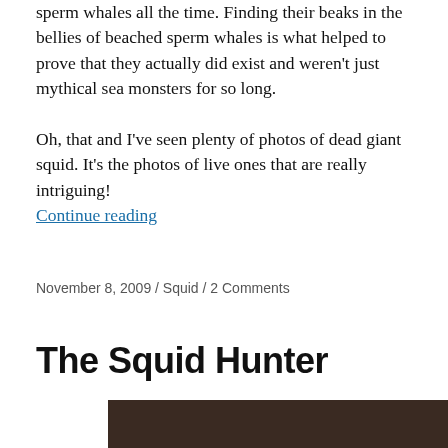sperm whales all the time. Finding their beaks in the bellies of beached sperm whales is what helped to prove that they actually did exist and weren't just mythical sea monsters for so long.

Oh, that and I've seen plenty of photos of dead giant squid. It's the photos of live ones that are really intriguing!
Continue reading
November 8, 2009 / Squid / 2 Comments
The Squid Hunter
[Figure (photo): Partial photo of a dark subject, bottom portion visible]